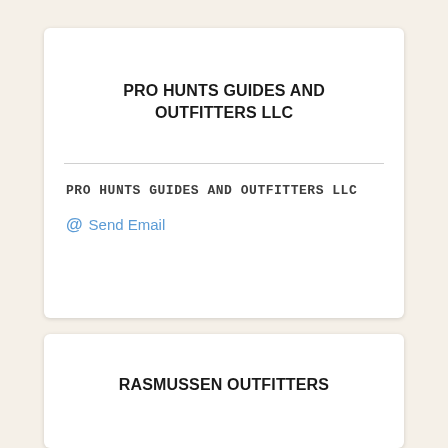PRO HUNTS GUIDES AND OUTFITTERS LLC
PRO HUNTS GUIDES AND OUTFITTERS LLC
@ Send Email
RASMUSSEN OUTFITTERS